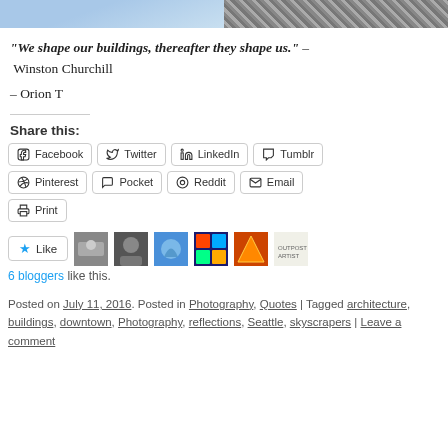[Figure (photo): Two photos side by side: left shows blue sky with clouds, right shows diagonal metal building facade/skyscraper reflections]
“We shape our buildings, thereafter they shape us.” – Winston Churchill
– Orion T
Share this:
Facebook  Twitter  LinkedIn  Tumblr  Pinterest  Pocket  Reddit  Email  Print
[Figure (other): Like button with star icon and 6 blogger avatars thumbnails]
6 bloggers like this.
Posted on July 11, 2016. Posted in Photography, Quotes | Tagged architecture, buildings, downtown, Photography, reflections, Seattle, skyscrapers | Leave a comment